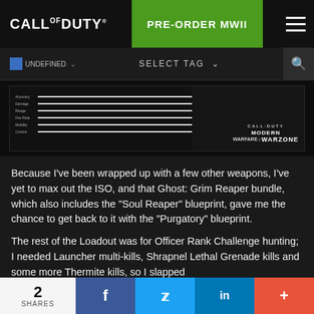[Figure (screenshot): Call of Duty website header with logo, PRE-ORDER MWII green button, hamburger menu, navigation bar with UNDEFINED tag and SELECT TAG dropdown, and a Call of Duty Modern Warfare Warzone game screenshot]
Because I've been wrapped up with a few other weapons, I've yet to max out the ISO, and that Ghost: Grim Reaper bundle, which also includes the "Soul Reaper" blueprint, gave me the chance to get back to it with the "Purgatory" blueprint.
The rest of the Loadout was for Officer Rank Challenge hunting; I needed Launcher multi-kills, Shrapnel Lethal Grenade kills and some more Thermite kills, so I slapped
2 SHARES  f  [Twitter bird]  in  +